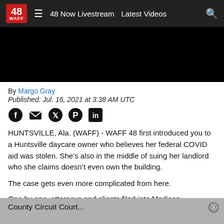48 WAFF | 48 Now Livestream | Latest Videos
[Figure (screenshot): Black video player area]
By Margo Gray
Published: Jul. 16, 2021 at 3:38 AM UTC
[Figure (infographic): Social media sharing icons: Facebook, Email, Twitter, Pinterest, LinkedIn]
HUNTSVILLE, Ala. (WAFF) - WAFF 48 first introduced you to a Huntsville daycare owner who believes her federal COVID aid was stolen. She’s also in the middle of suing her landlord who she claims doesn’t even own the building.
The case gets even more complicated from here.
One by one, attorneys and clients filed into Madison County Circuit Court...